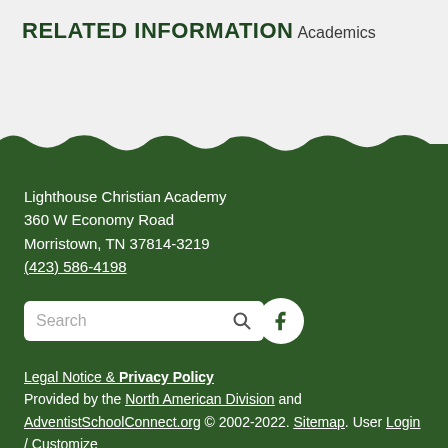RELATED INFORMATION
Academics
Lighthouse Christian Academy
360 W Economy Road
Morristown, TN 37814-3219
(423) 586-4198
Legal Notice & Privacy Policy
Provided by the North American Division and AdventistSchoolConnect.org © 2002-2022. Sitemap. User Login / Customize